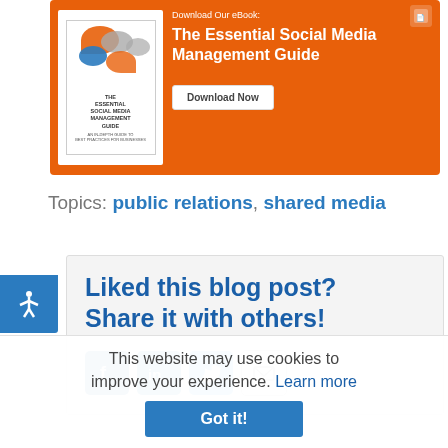[Figure (illustration): Orange banner advertisement for 'The Essential Social Media Management Guide' eBook with a book cover image on the left, title text and Download Now button on the right]
Topics: public relations, shared media
[Figure (illustration): Blue accessibility icon button on the left side]
Liked this blog post? Share it with others!
[Figure (illustration): Social share icons: Facebook, LinkedIn, Twitter, Email]
This website may use cookies to improve your experience. Learn more
Got it!